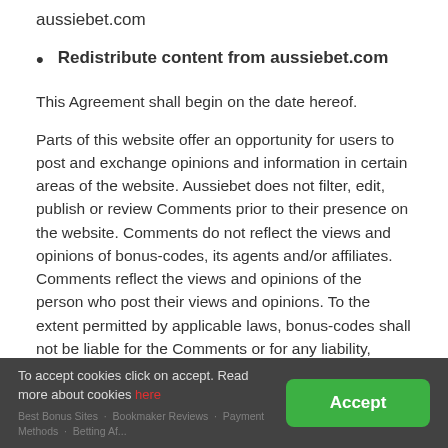aussiebet.com
Redistribute content from aussiebet.com
This Agreement shall begin on the date hereof.
Parts of this website offer an opportunity for users to post and exchange opinions and information in certain areas of the website. Aussiebet does not filter, edit, publish or review Comments prior to their presence on the website. Comments do not reflect the views and opinions of bonus-codes, its agents and/or affiliates. Comments reflect the views and opinions of the person who post their views and opinions. To the extent permitted by applicable laws, bonus-codes shall not be liable for the Comments or for any liability, damages or expenses caused and/or suffered as a
To accept cookies click on accept. Read more about cookies here